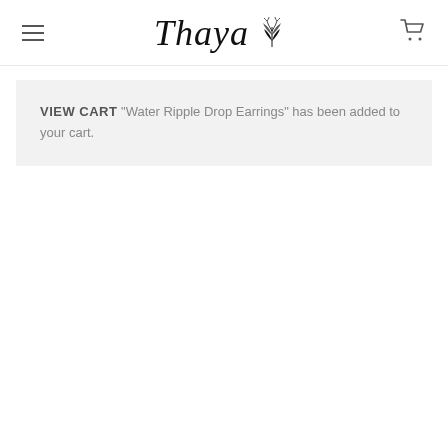Thaya [logo with leaf motif] — navigation header with menu icon and cart icon
VIEW CART "Water Ripple Drop Earrings" has been added to your cart.